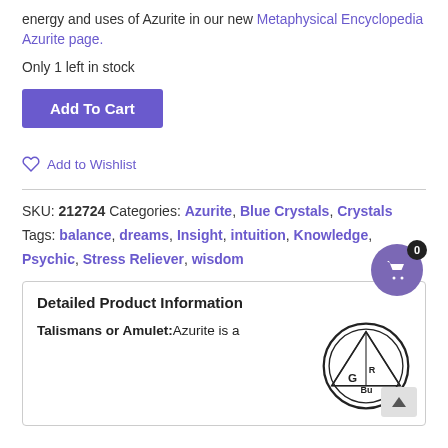energy and uses of Azurite in our new Metaphysical Encyclopedia Azurite page.
Only 1 left in stock
Add To Cart
♡ Add to Wishlist
SKU: 212724  Categories: Azurite, Blue Crystals, Crystals  Tags: balance, dreams, Insight, intuition, Knowledge, Psychic, Stress Reliever, wisdom
Detailed Product Information
Talismans or Amulet: Azurite is a